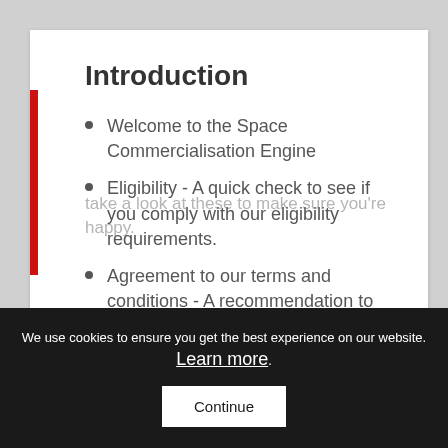Introduction
Welcome to the Space Commercialisation Engine
Eligibility - A quick check to see if you comply with our eligibility requirements.
Agreement to our terms and conditions - A recommendation to take a look at these to make sure you're happy.
We use cookies to ensure you get the best experience on our website. Learn more. Continue